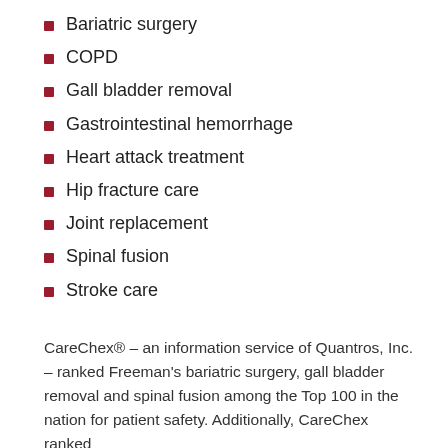Bariatric surgery
COPD
Gall bladder removal
Gastrointestinal hemorrhage
Heart attack treatment
Hip fracture care
Joint replacement
Spinal fusion
Stroke care
CareChex® – an information service of Quantros, Inc. – ranked Freeman's bariatric surgery, gall bladder removal and spinal fusion among the Top 100 in the nation for patient safety. Additionally, CareChex ranked